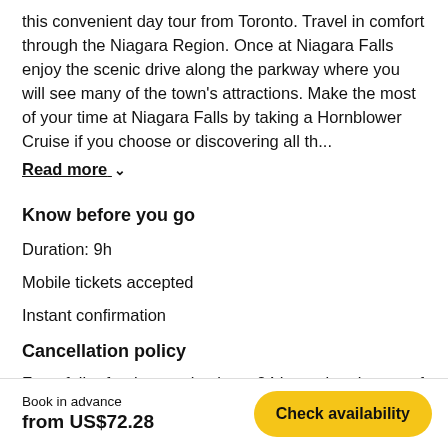this convenient day tour from Toronto. Travel in comfort through the Niagara Region. Once at Niagara Falls enjoy the scenic drive along the parkway where you will see many of the town's attractions. Make the most of your time at Niagara Falls by taking a Hornblower Cruise if you choose or discovering all th...
Read more ∨
Know before you go
Duration: 9h
Mobile tickets accepted
Instant confirmation
Cancellation policy
For a full refund, cancel at least 24 hours in advance of the start date of the experience.
Book in advance
from US$72.28
Check availability